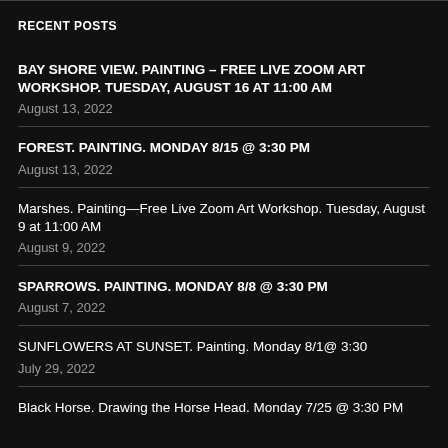RECENT POSTS
BAY SHORE VIEW. PAINTING – FREE LIVE ZOOM ART WORKSHOP. TUESDAY, AUGUST 16 AT 11:00 AM
August 13, 2022
FOREST. PAINTING. MONDAY 8/15 @ 3:30 PM
August 13, 2022
Marshes. Painting—Free Live Zoom Art Workshop. Tuesday, August 9 at 11:00 AM
August 9, 2022
SPARROWS. PAINTING. MONDAY 8/8 @ 3:30 PM
August 7, 2022
SUNFLOWERS AT SUNSET. Painting. Monday 8/1@ 3:30
July 29, 2022
Black Horse. Drawing the Horse Head. Monday 7/25 @ 3:30 PM